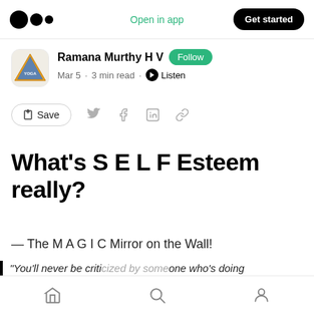Open in app   Get started
Ramana Murthy H V  Follow
Mar 5 · 3 min read · Listen
Save
What's S E L F Esteem really?
— The M A G I C Mirror on the Wall!
"You'll never be criticized by someone who's doing
Home  Search  Profile